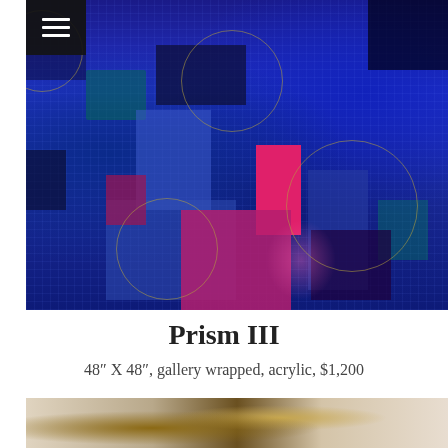[Figure (photo): Abstract acrylic painting 'Prism III' — predominantly deep blue background with overlapping geometric rectangles in blue, magenta/pink, and dark purple, plus circular outlines in gold/yellow, and patches of green and black. Grid-like texture throughout. Hamburger menu icon overlaid top-left corner.]
Prism III
48″ X 48″, gallery wrapped, acrylic, $1,200
[Figure (photo): Partial bottom edge of a second artwork visible — warm beige, tan, and brown tones with abstract shapes.]